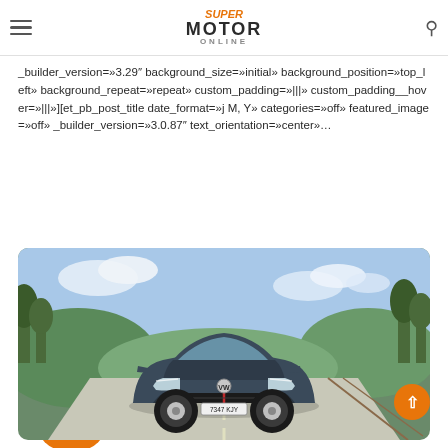SuperMotor Online - navigation header with hamburger menu, logo, and search icon
_builder_version=»3.29″ background_size=»initial» background_position=»top_left» background_repeat=»repeat» custom_padding=»|||» custom_padding__hover=»|||»][et_pb_post_title date_format=»j M, Y» categories=»off» featured_image=»off» _builder_version=»3.0.87″ text_orientation=»center»…
Leer más »
[Figure (photo): Front view of a dark blue Volkswagen Polo GTI on a rural road with green hills and trees in the background, license plate 7347 KJY]